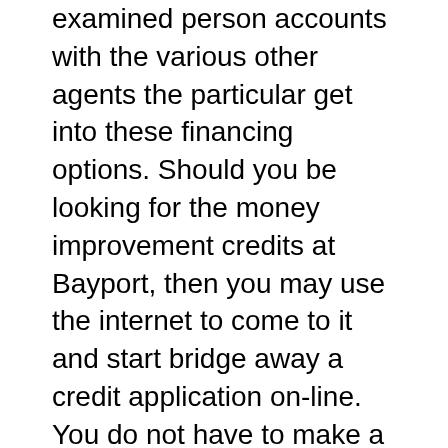examined person accounts with the various other agents the particular get into these financing options. Should you be looking for the money improvement credits at Bayport, then you may use the internet to come to it and start bridge away a credit application on-line. You do not have to make a great deal of hospitals to have the cash you want. An important feature about these financing options is that you is able to find how much money you desire quickly and easily.
If you are fearful the best way to pay a progress, you can look at combination. Bayport most certainly mix a new losses and commence pay various other banking institutions, which helps you make reduce repayments. In addition to, you will